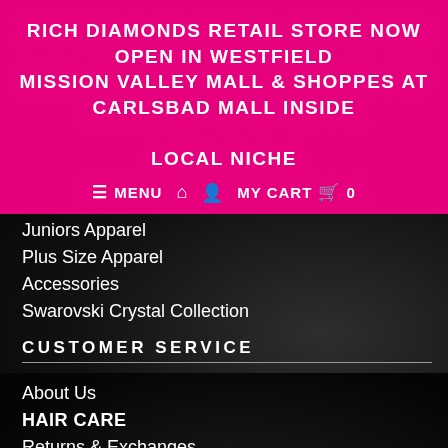RICH DIAMONDS RETAIL STORE NOW OPEN IN WESTFIELD MISSION VALLEY MALL & SHOPPES AT CARLSBAD MALL INSIDE LOCAL NICHE
MENU  MY CART  0
Juniors Apparel
Plus Size Apparel
Accessories
Swarovski Crystal Collection
CUSTOMER SERVICE
About Us
HAIR CARE
Returns & Exchanges
Privacy Policy
Shipping